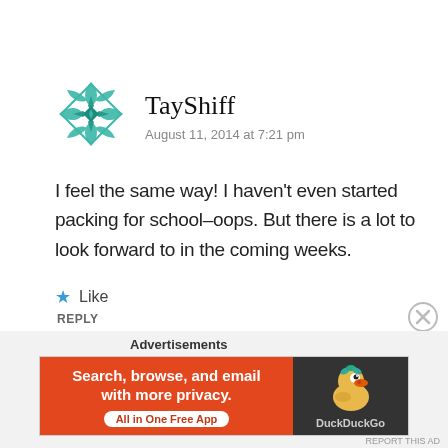[Figure (logo): Teal geometric quilt/flower avatar for user TayShiff]
TayShiff
August 11, 2014 at 7:21 pm
I feel the same way! I haven't even started packing for school–oops. But there is a lot to look forward to in the coming weeks.
★ Like
REPLY
Advertisements
[Figure (screenshot): DuckDuckGo advertisement banner: orange section with 'Search, browse, and email with more privacy. All in One Free App' and dark section with DuckDuckGo duck logo]